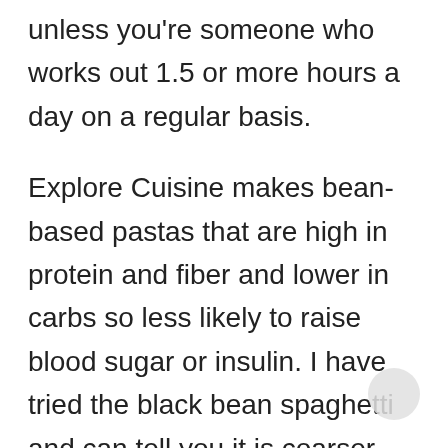unless you're someone who works out 1.5 or more hours a day on a regular basis.
Explore Cuisine makes bean-based pastas that are high in protein and fiber and lower in carbs so less likely to raise blood sugar or insulin. I have tried the black bean spaghetti and can tell you it is coarser than regular spaghetti and the water you boil it in gets black and the color of the pasta is blackish-grey but the taste is neutral and it works nicely to absorb sauces.